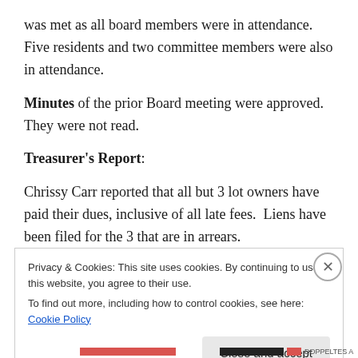was met as all board members were in attendance. Five residents and two committee members were also in attendance.
Minutes of the prior Board meeting were approved. They were not read.
Treasurer's Report:
Chrissy Carr reported that all but 3 lot owners have paid their dues, inclusive of all late fees. Liens have been filed for the 3 that are in arrears.
Privacy & Cookies: This site uses cookies. By continuing to use this website, you agree to their use.
To find out more, including how to control cookies, see here: Cookie Policy